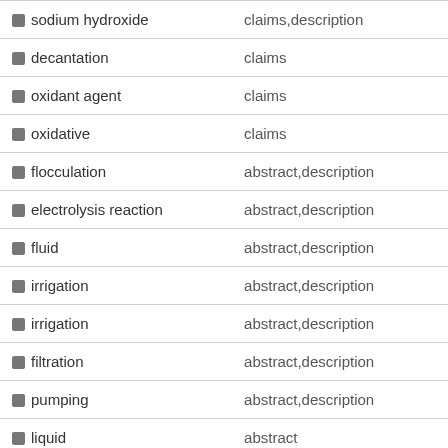| Term | Section |
| --- | --- |
| sodium hydroxide | claims,description |
| decantation | claims |
| oxidant agent | claims |
| oxidative | claims |
| flocculation | abstract,description |
| electrolysis reaction | abstract,description |
| fluid | abstract,description |
| irrigation | abstract,description |
| irrigation | abstract,description |
| filtration | abstract,description |
| pumping | abstract,description |
| liquid | abstract |